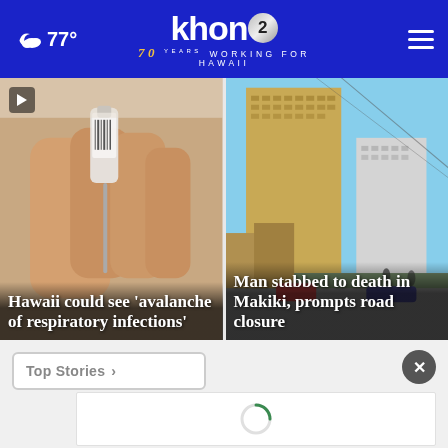KHON2 – Working for Hawaii. Weather: 77°
[Figure (photo): Close-up photo of a hand holding a medical vial and syringe (vaccine). Headline: Hawaii could see 'avalanche of respiratory infections']
[Figure (photo): Photo of a tall building in Makiki neighborhood of Honolulu with street scene. Headline: Man stabbed to death in Makiki, prompts road closure]
Top Stories >
[Figure (other): Advertisement loading spinner overlay with close (X) button]